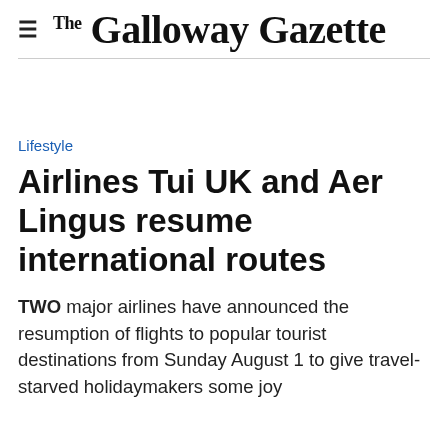The Galloway Gazette
Lifestyle
Airlines Tui UK and Aer Lingus resume international routes
TWO major airlines have announced the resumption of flights to popular tourist destinations from Sunday August 1 to give travel-starved holidaymakers some joy